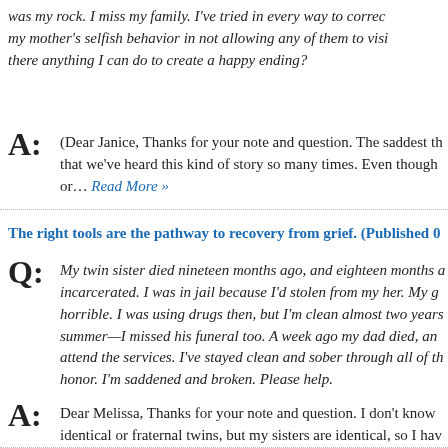was my rock. I miss my family. I've tried in every way to correct my mother's selfish behavior in not allowing any of them to visit. Is there anything I can do to create a happy ending?
A: (Dear Janice, Thanks for your note and question. The saddest thing is that we've heard this kind of story so many times. Even though or… Read More »
The right tools are the pathway to recovery from grief. (Published 0…)
Q: My twin sister died nineteen months ago, and eighteen months ago I was incarcerated. I was in jail because I'd stolen from my her. My guilt was horrible. I was using drugs then, but I'm clean almost two years. Last summer—I missed his funeral too. A week ago my dad died, and I couldn't attend the services. I've stayed clean and sober through all of this in his honor. I'm saddened and broken. Please help.
A: Dear Melissa, Thanks for your note and question. I don't know if you're identical or fraternal twins, but my sisters are identical, so I hav… for… Read More »